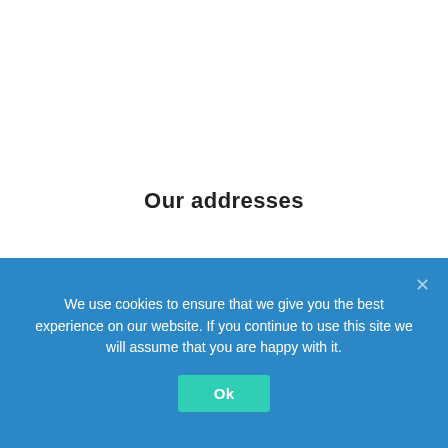Our addresses
Europe/Middle-East/Africa
STROMASYS SA
Avenue Louis-Casai 84
We use cookies to ensure that we give you the best experience on our website. If you continue to use this site we will assume that you are happy with it.
Ok